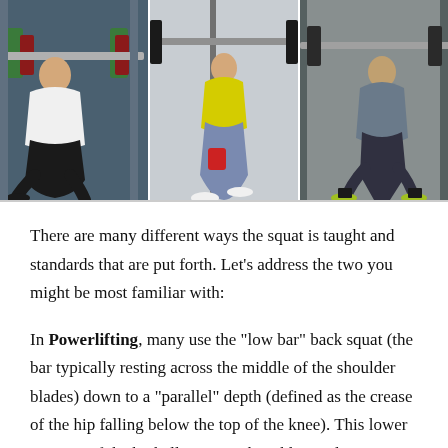[Figure (photo): Three side-by-side photos of athletes performing barbell squats in a gym setting. Left: powerlifter in white shirt squatting with a heavily loaded barbell. Center: woman in yellow top and grey leggings squatting with barbell. Right: man in grey shirt squatting with barbell in a CrossFit gym.]
There are many different ways the squat is taught and standards that are put forth. Let’s address the two you might be most familiar with:
In Powerlifting, many use the “low bar” back squat (the bar typically resting across the middle of the shoulder blades) down to a “parallel” depth (defined as the crease of the hip falling below the top of the knee). This lower position of the barbell requires the athlete to lean